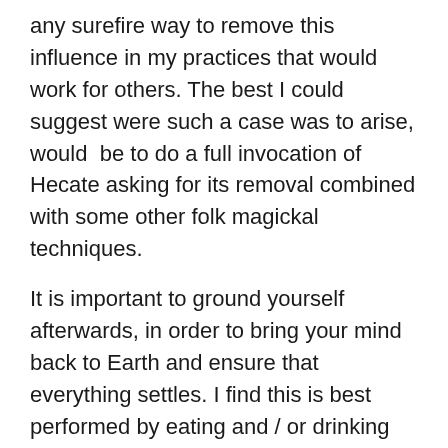any surefire way to remove this influence in my practices that would work for others. The best I could suggest were such a case was to arise, would  be to do a full invocation of Hecate asking for its removal combined with some other folk magickal techniques.
It is important to ground yourself afterwards, in order to bring your mind back to Earth and ensure that everything settles. I find this is best performed by eating and / or drinking something, which has the additional benefit of helping top up physical energy reserves which can be depleted during any work with the spirits/gods/goddesses which you could contact.
The candles themselves are offerings, so should be left to burn down entirely, and should not be extinguished early and/or removed.